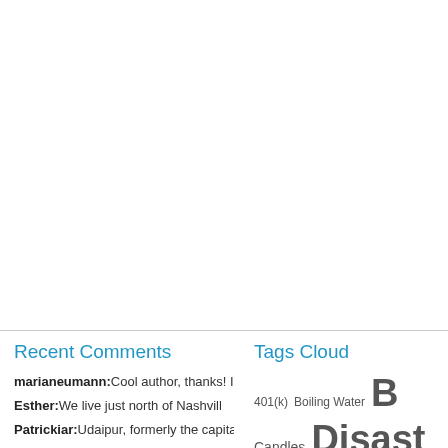Recent Comments
marianeumann:Cool author, thanks! I also ha
Esther:We live just north of Nashvill
Patrickiar:Udaipur, formerly the capital
Tags Cloud
401(k) Boiling Water B Candles Disast Water